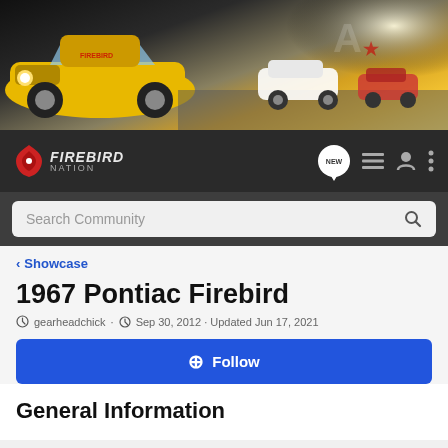[Figure (photo): Hero banner showing yellow Pontiac Firebird on racing track with other classic Firebirds in background]
[Figure (logo): Firebird Nation logo with bird icon in red and text in white/gray on dark background]
Search Community
< Showcase
1967 Pontiac Firebird
gearheadchick · Sep 30, 2012 · Updated Jun 17, 2021
+ Follow
General Information